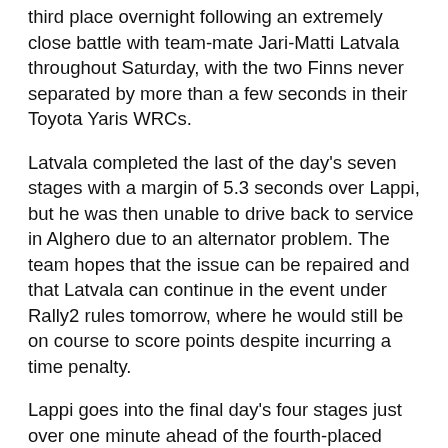third place overnight following an extremely close battle with team-mate Jari-Matti Latvala throughout Saturday, with the two Finns never separated by more than a few seconds in their Toyota Yaris WRCs.
Latvala completed the last of the day's seven stages with a margin of 5.3 seconds over Lappi, but he was then unable to drive back to service in Alghero due to an alternator problem. The team hopes that the issue can be repaired and that Latvala can continue in the event under Rally2 rules tomorrow, where he would still be on course to score points despite incurring a time penalty.
Lappi goes into the final day's four stages just over one minute ahead of the fourth-placed driver. Ott Tänak meanwhile is ninth overall, having restarted today under Rally2 rules, after the team worked into the night to repair the damage incurred in a heavy landing on Friday's final stage. Following a 10-minute time penalty, Tänak climbed from 19th to ninth on the leaderboard